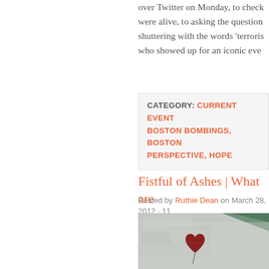over Twitter on Monday, to check were alive, to asking the question shuttering with the words 'terroris who showed up for an iconic eve
CATEGORY: CURRENT EVENT BOSTON BOMBINGS, BOSTON PERSPECTIVE, HOPE
Fistful of Ashes | What are
Posted by Ruthie Dean on March 28, 2012 · 11
[Figure (photo): A heart-shaped red balloon painted on a weathered concrete wall, with green paint streaks in the background.]